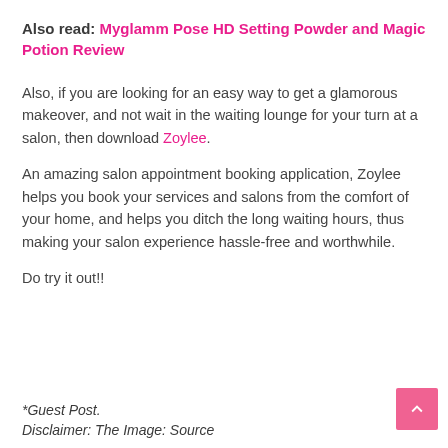Also read: Myglamm Pose HD Setting Powder and Magic Potion Review
Also, if you are looking for an easy way to get a glamorous makeover, and not wait in the waiting lounge for your turn at a salon, then download Zoylee.
An amazing salon appointment booking application, Zoylee helps you book your services and salons from the comfort of your home, and helps you ditch the long waiting hours, thus making your salon experience hassle-free and worthwhile.
Do try it out!!
*Guest Post.
Disclaimer: The Image: Source